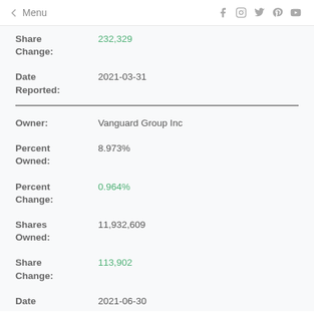← Menu
Share Change: 232,329
Date Reported: 2021-03-31
Owner: Vanguard Group Inc
Percent Owned: 8.973%
Percent Change: 0.964%
Shares Owned: 11,932,609
Share Change: 113,902
Date: 2021-06-30